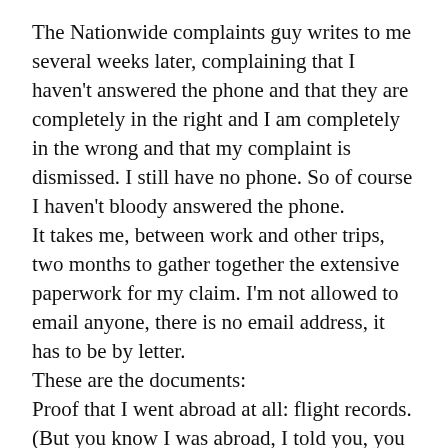The Nationwide complaints guy writes to me several weeks later, complaining that I haven't answered the phone and that they are completely in the right and I am completely in the wrong and that my complaint is dismissed. I still have no phone. So of course I haven't bloody answered the phone.
It takes me, between work and other trips, two months to gather together the extensive paperwork for my claim. I'm not allowed to email anyone, there is no email address, it has to be by letter.
These are the documents:
Proof that I went abroad at all: flight records. (But you know I was abroad, I told you, you blocked my credit card. Nationwide guy: 'Nationwide